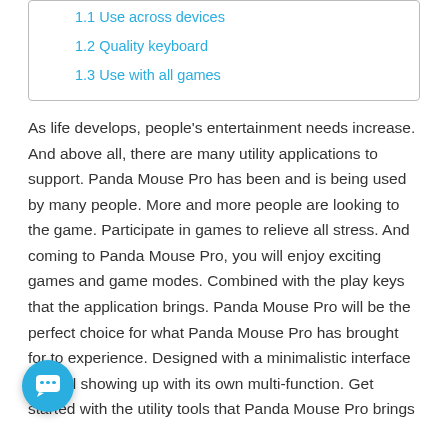1.1 Use across devices
1.2 Quality keyboard
1.3 Use with all games
As life develops, people's entertainment needs increase. And above all, there are many utility applications to support. Panda Mouse Pro has been and is being used by many people. More and more people are looking to the game. Participate in games to relieve all stress. And coming to Panda Mouse Pro, you will enjoy exciting games and game modes. Combined with the play keys that the application brings. Panda Mouse Pro will be the perfect choice for what Panda Mouse Pro has brought for to experience. Designed with a minimalistic interface but still showing up with its own multi-function. Get started with the utility tools that Panda Mouse Pro brings...